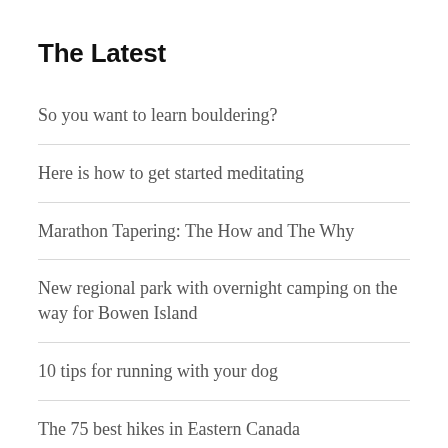The Latest
So you want to learn bouldering?
Here is how to get started meditating
Marathon Tapering: The How and The Why
New regional park with overnight camping on the way for Bowen Island
10 tips for running with your dog
The 75 best hikes in Eastern Canada